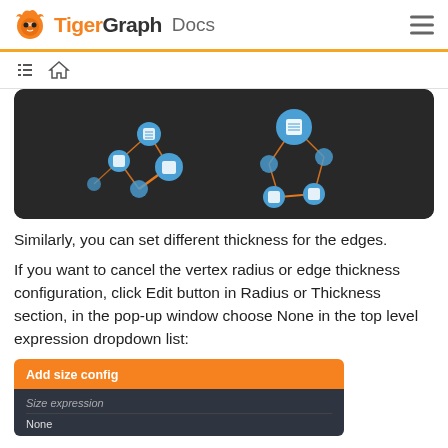TigerGraph Docs
[Figure (screenshot): Graph visualization showing nodes connected by orange edges on a dark background. Blue circular nodes with document icons are interconnected.]
Similarly, you can set different thickness for the edges.
If you want to cancel the vertex radius or edge thickness configuration, click Edit button in Radius or Thickness section, in the pop-up window choose None in the top level expression dropdown list:
[Figure (screenshot): Add size config dialog showing Size expression field with None selected.]